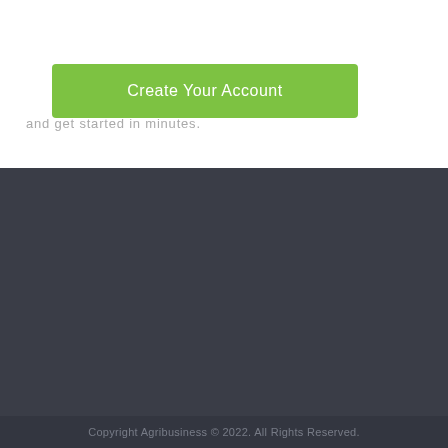[Figure (other): Green 'Create Your Account' button on white background]
and get started in minutes.
[Figure (other): Dark gray footer background section]
Copyright Agribusiness © 2022. All Rights Reserved.